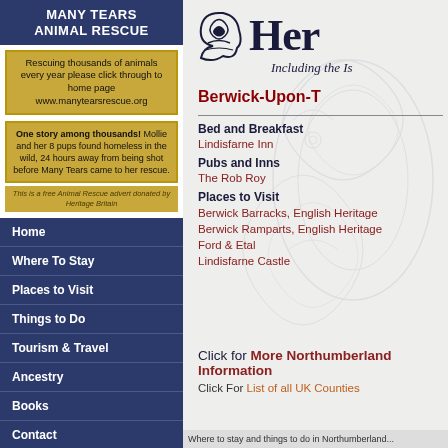MANY TEARS ANIMAL RESCUE
Rescuing thousands of animals every year please click through to home page www.manytearsrescue.org
[Figure (photo): Two black and white dogs side by side]
One story among thousands! Mollie and her 8 pups found homeless in the wild, 24 hours away from being shot before Many Tears came to her rescue.
This is a free Animal Rescue advert donated by Heritage Britain
Home
Where To Stay
Places to Visit
Things to Do
Tourism & Travel
Ancestry
Books
Contact
Her
Including the Is
Berwick-Upon-T
Bed and Breakfast
Lindisfarne Inn
Pubs and Inns
The Rob Roy
Places to Visit
Berwick Barracks, English Heritage
Berwick Ramparts, English Heritage
Ford & Etal
Lindisfarne Castle
Click for More Northumberland Information
Click For List of all UK Counties